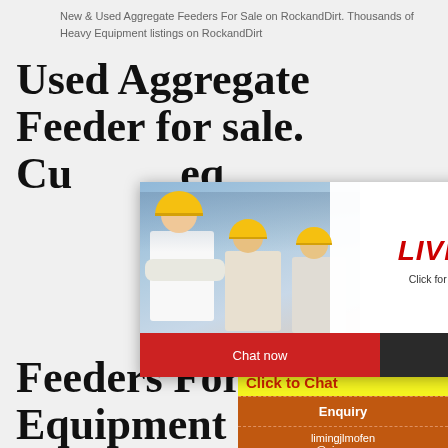New & Used Aggregate Feeders For Sale on RockandDirt. Thousands of Heavy Equipment listings on RockandDirt
Used Aggregate Feeder for sale. Cu... eq...
Built, Cedarapids, Lippmann, Eagle, Trio, Con... Grizzly, and Etnyre for sale on Machinio.
[Figure (photo): Live chat overlay with construction workers photo in background, showing LIVE CHAT headline, Click for a Free Consultation subtitle, Chat now and Chat later buttons]
[Figure (infographic): Right side orange advertisement panel showing mining/aggregate machinery images, Enjoy 3% discount, Click to Chat, Enquiry, and limingjlmofen@sina.com contact]
Feeders For Sale General Equipment & Supplies, Inc.